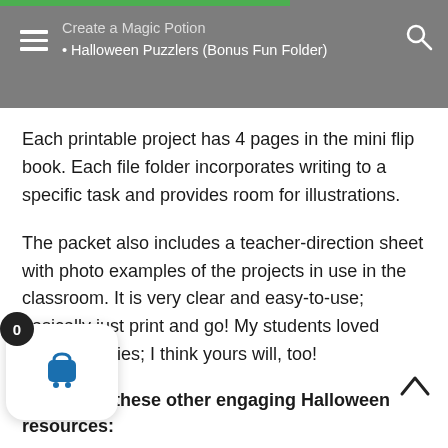Create a Magic Potion • Halloween Puzzlers (Bonus Fun Folder)
Each printable project has 4 pages in the mini flip book. Each file folder incorporates writing to a specific task and provides room for illustrations.
The packet also includes a teacher-direction sheet with photo examples of the projects in use in the classroom. It is very clear and easy-to-use; basically just print and go! My students loved these activities; I think yours will, too!
Check out these other engaging Halloween resources:
October Reading/ELA Unit